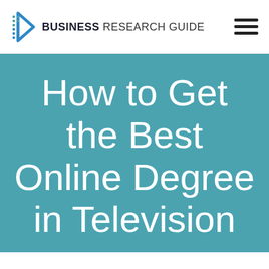BUSINESS RESEARCH GUIDE
How to Get the Best Online Degree in Television